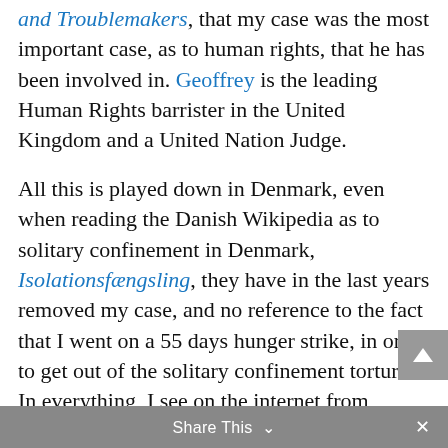and Troublemakers, that my case was the most important case, as to human rights, that he has been involved in. Geoffrey is the leading Human Rights barrister in the United Kingdom and a United Nation Judge.
All this is played down in Denmark, even when reading the Danish Wikipedia as to solitary confinement in Denmark, Isolationsfængsling, they have in the last years removed my case, and no reference to the fact that I went on a 55 days hunger strike, in order to get out of the solitary confinement torture. In everything, I see on the internet from Denmark, nothing, just nothing, is written about this terrible torture, it is like what took place during the second world war in Denmark, – all shamefully hidden from the public.
Share This ∨